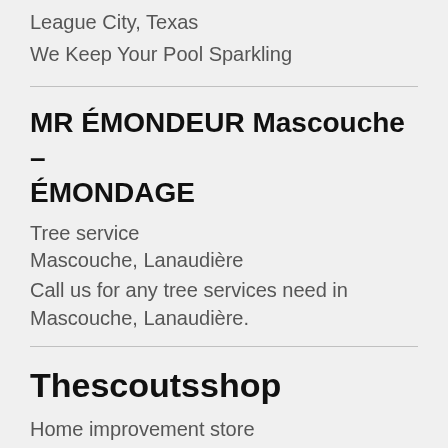League City, Texas
We Keep Your Pool Sparkling
MR ÉMONDEUR Mascouche – ÉMONDAGE
Tree service
Mascouche, Lanaudière
Call us for any tree services need in Mascouche, Lanaudière.
Thescoutsshop
Home improvement store
Melton, Victoria
home improvement